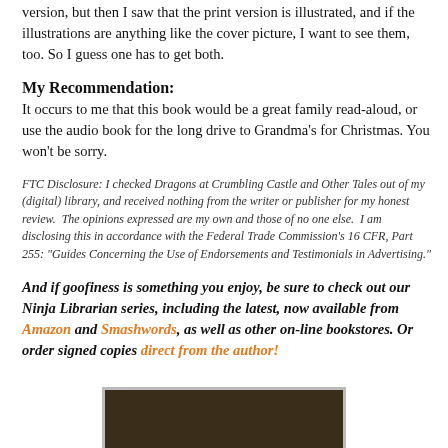version, but then I saw that the print version is illustrated, and if the illustrations are anything like the cover picture, I want to see them, too. So I guess one has to get both.
My Recommendation:
It occurs to me that this book would be a great family read-aloud, or use the audio book for the long drive to Grandma's for Christmas. You won't be sorry.
FTC Disclosure: I checked Dragons at Crumbling Castle and Other Tales out of my (digital) library, and received nothing from the writer or publisher for my honest review.  The opinions expressed are my own and those of no one else.  I am disclosing this in accordance with the Federal Trade Commission's 16 CFR, Part 255: "Guides Concerning the Use of Endorsements and Testimonials in Advertising."
And if goofiness is something you enjoy, be sure to check out our Ninja Librarian series, including the latest, now available from Amazon and Smashwords, as well as other on-line bookstores. Or order signed copies direct from the author!
[Figure (photo): Partial view of a book cover image at the bottom of the page, dark brown/olive tones.]